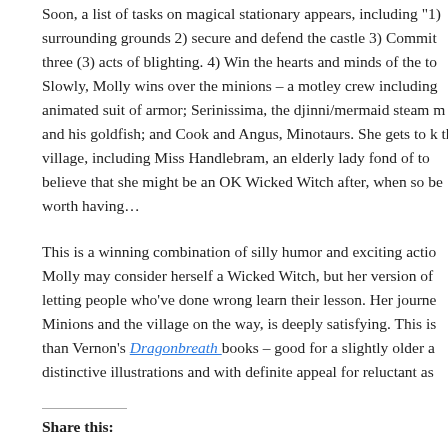Soon, a list of tasks on magical stationary appears, including "1) surrounding grounds 2) secure and defend the castle 3) Commit three (3) acts of blighting. 4) Win the hearts and minds of the to Slowly, Molly wins over the minions – a motley crew including animated suit of armor; Serinissima, the djinni/mermaid steam m and his goldfish; and Cook and Angus, Minotaurs. She gets to k the village, including Miss Handlebram, an elderly lady fond of to believe that she might be an OK Wicked Witch after, when so be worth having…
This is a winning combination of silly humor and exciting actio Molly may consider herself a Wicked Witch, but her version of letting people who've done wrong learn their lesson. Her journe Minions and the village on the way, is deeply satisfying. This is than Vernon's Dragonbreath books – good for a slightly older a distinctive illustrations and with definite appeal for reluctant as
Share this: